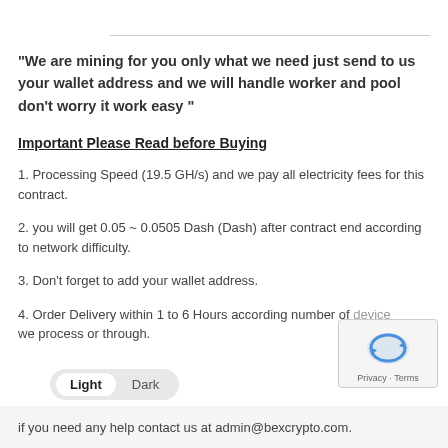"We are mining for you only what we need just send to us your wallet address and we will handle worker and pool don't worry it work easy "
Important Please Read before Buying
1. Processing Speed (19.5 GH/s) and we pay all electricity fees for this contract.
2. you will get 0.05 ~ 0.0505 Dash (Dash) after contract end according to network difficulty.
3. Don't forget to add your wallet address.
4. Order Delivery within 1 to 6 Hours according number of device we process or through.
if you need any help contact us at admin@bexcrypto.com.